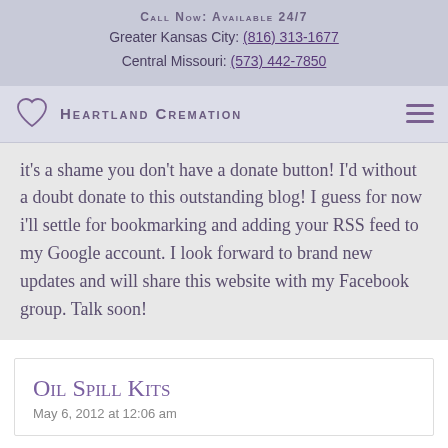Call Now: Available 24/7
Greater Kansas City: (816) 313-1677
Central Missouri: (573) 442-7850
[Figure (logo): Heartland Cremation logo with heart icon]
It's a shame you don't have a donate button! I'd without a doubt donate to this outstanding blog! I guess for now i'll settle for bookmarking and adding your RSS feed to my Google account. I look forward to brand new updates and will share this website with my Facebook group. Talk soon!
Oil Spill Kits
May 6, 2012 at 12:06 am